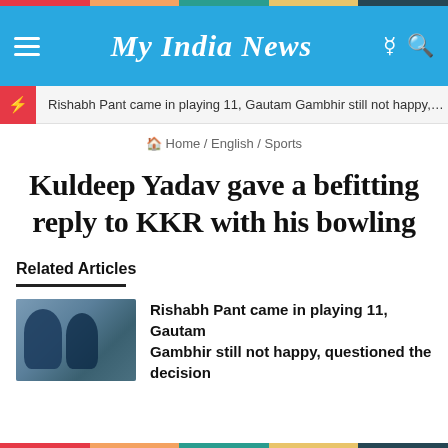My India News
Rishabh Pant came in playing 11, Gautam Gambhir still not happy,...
Home / English / Sports
Kuldeep Yadav gave a befitting reply to KKR with his bowling
Related Articles
[Figure (photo): Two Indian cricket players in blue jerseys standing together]
Rishabh Pant came in playing 11, Gautam Gambhir still not happy, questioned the decision